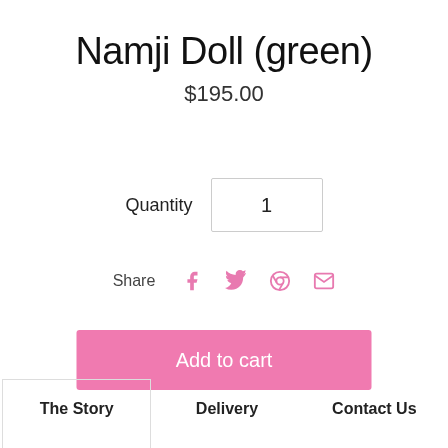Namji Doll (green)
$195.00
Quantity 1
Share
Add to cart
The Story
Delivery
Contact Us